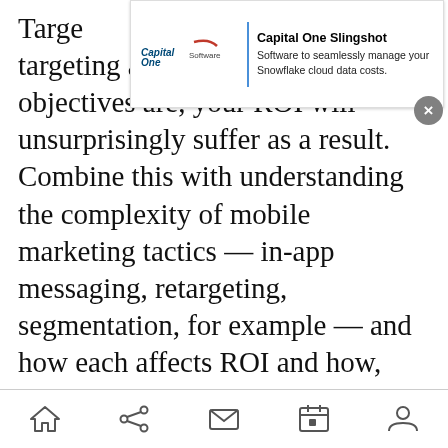Targeting campaigns are targeting and what your overall objectives are, your ROI will unsurprisingly suffer as a result. Combine this with understanding the complexity of mobile marketing tactics — in-app messaging, retargeting, segmentation, for example — and how each affects ROI and how, together, they multiply.
[Figure (screenshot): Capital One Software advertisement banner showing logo and text: 'Capital One Slingshot — Software to seamlessly manage your Snowflake cloud data costs.' with a close button.]
ADVERTISEMENT